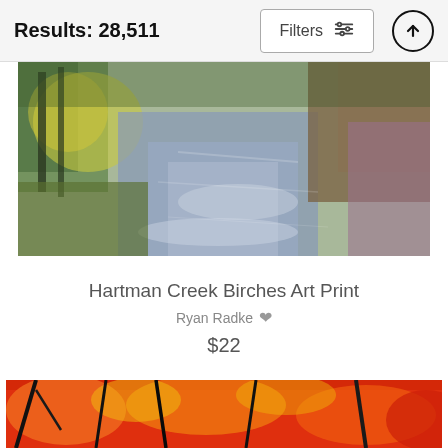Results: 28,511
Filters
[Figure (photo): Watercolor painting of Hartman Creek with birch trees reflected in calm water, muted blues and greens]
Hartman Creek Birches Art Print
Ryan Radke
$22
[Figure (photo): Painting of autumn trees with vivid red, orange and yellow foliage against dark branches]